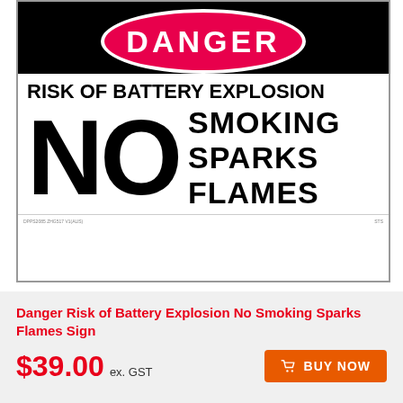[Figure (illustration): Danger safety sign with pink oval DANGER text at top on black banner, white body reading RISK OF BATTERY EXPLOSION and NO SMOKING SPARKS FLAMES in bold black text]
Danger Risk of Battery Explosion No Smoking Sparks Flames Sign
$39.00 ex. GST
BUY NOW